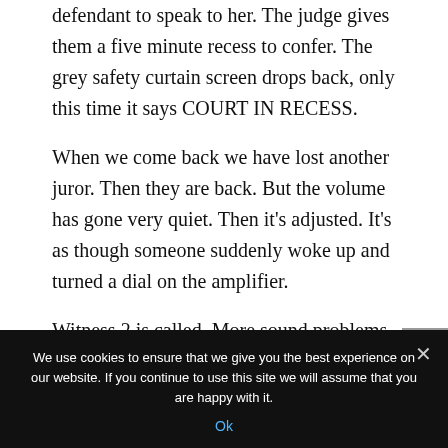defendant to speak to her. The judge gives them a five minute recess to confer. The grey safety curtain screen drops back, only this time it says COURT IN RECESS.
When we come back we have lost another juror. Then they are back. But the volume has gone very quiet. Then it's adjusted. It's as though someone suddenly woke up and turned a dial on the amplifier.
Witness 2 is called. More sound problems. He is speaking but we cannot hear him. Then we can.
We use cookies to ensure that we give you the best experience on our website. If you continue to use this site we will assume that you are happy with it.